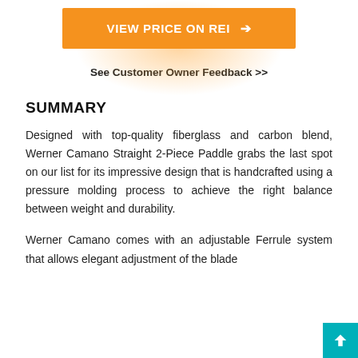[Figure (other): Orange button labeled VIEW PRICE ON REI with arrow, with orange glow background effect]
See Customer Owner Feedback >>
SUMMARY
Designed with top-quality fiberglass and carbon blend, Werner Camano Straight 2-Piece Paddle grabs the last spot on our list for its impressive design that is handcrafted using a pressure molding process to achieve the right balance between weight and durability.
Werner Camano comes with an adjustable Ferrule system that allows elegant adjustment of the blade